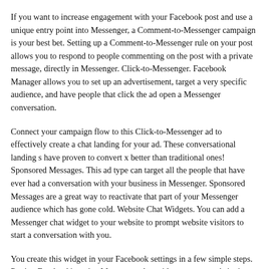If you want to increase engagement with your Facebook post and use a unique entry point into Messenger, a Comment-to-Messenger campaign is your best bet. Setting up a Comment-to-Messenger rule on your post allows you to respond to people commenting on the post with a private message, directly in Messenger. Click-to-Messenger. Facebook Manager allows you to set up an advertisement, target a very specific audience, and have people that click the ad open a Messenger conversation.
Connect your campaign flow to this Click-to-Messenger ad to effectively create a chat landing for your ad. These conversational landing s have proven to convert x better than traditional ones! Sponsored Messages. This ad type can target all the people that have ever had a conversation with your business in Messenger. Sponsored Messages are a great way to reactivate that part of your Messenger audience which has gone cold. Website Chat Widgets. You can add a Messenger chat widget to your website to prompt website visitors to start a conversation with you.
You create this widget in your Facebook settings in a few simple steps. Putting Facebook's native Messenger chat widget on your website is a great way to offer live chat customer support to your website visitors. Handle support issues in the Inbox section of your POP dashboard. You can also create your very own Send to